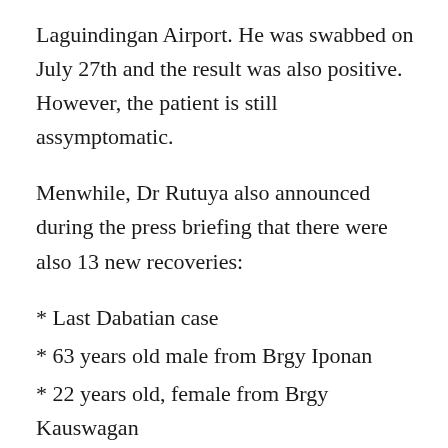Laguindingan Airport. He was swabbed on July 27th and the result was also positive. However, the patient is still assymptomatic.
Menwhile, Dr Rutuya also announced during the press briefing that there were also 13 new recoveries:
* Last Dabatian case
* 63 years old male from Brgy Iponan
* 22 years old, female from Brgy Kauswagan
* 47 years old from Brgy Lapasan